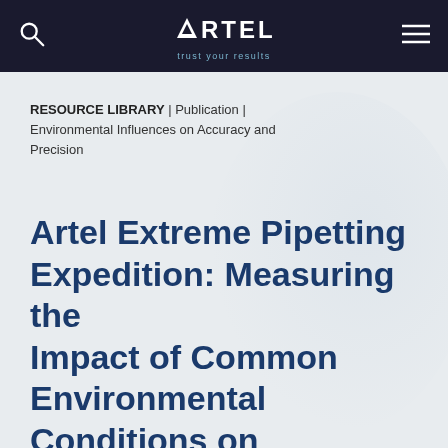ARTEL trust your results
RESOURCE LIBRARY | Publication | Environmental Influences on Accuracy and Precision
Artel Extreme Pipetting Expedition: Measuring the Impact of Common Environmental Conditions on Laboratory Data Integrity